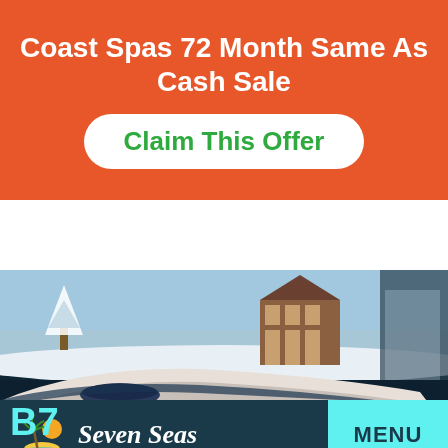Coast Spas 72 Month Same As Cash Sale
Claim This Offer
[Figure (screenshot): Seven Seas hot tub/spa showroom website screenshot showing a large luxury hot tub/spa in a dark indoor showroom setting with a snowy outdoor backdrop mural. Navigation bar shows Seven Seas logo with palm tree and sun icon on the left, and a cyan MENU button on the right.]
MENU
Seven Seas